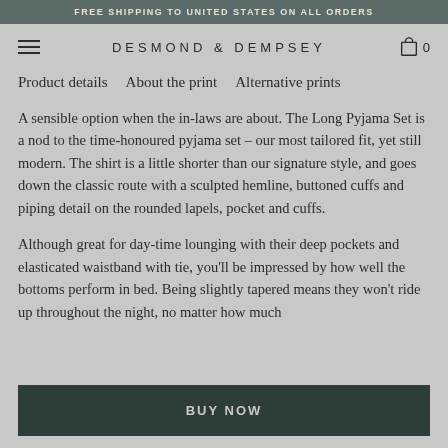FREE SHIPPING TO UNITED STATES ON ALL ORDERS
DESMOND & DEMPSEY
Product details   About the print   Alternative prints
A sensible option when the in-laws are about. The Long Pyjama Set is a nod to the time-honoured pyjama set – our most tailored fit, yet still modern. The shirt is a little shorter than our signature style, and goes down the classic route with a sculpted hemline, buttoned cuffs and piping detail on the rounded lapels, pocket and cuffs.
Although great for day-time lounging with their deep pockets and elasticated waistband with tie, you'll be impressed by how well the bottoms perform in bed. Being slightly tapered means they won't ride up throughout the night, no matter how much
BUY NOW